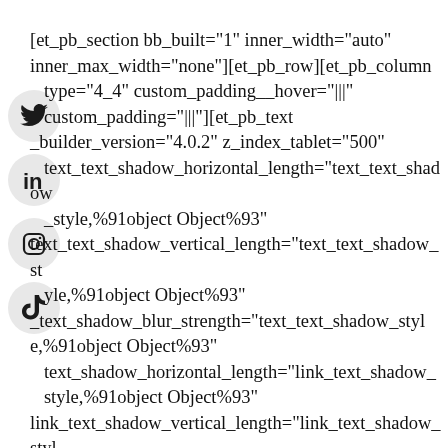[et_pb_section bb_built="1" inner_width="auto" inner_max_width="none"][et_pb_row][et_pb_column type="4_4" custom_padding__hover="|||" custom_padding="|||"][et_pb_text _builder_version="4.0.2" z_index_tablet="500" text_text_shadow_horizontal_length="text_text_shadow_style,%91object Object%93" text_text_shadow_vertical_length="text_text_shadow_style,%91object Object%93" _text_shadow_blur_strength="text_text_shadow_style,%91object Object%93" text_shadow_horizontal_length="link_text_shadow_style,%91object Object%93" link_text_shadow_vertical_length="link_text_shadow_style,%91object Object%93" link_text_shadow_blur_strength="link_text_shadow_style,%91object Object%93" ul_text_shadow_horizontal_length="ul_text_shadow_style,%91object Object%93" ul_text_shadow_vertical_length="ul_text_shadow_style,
[Figure (logo): Twitter bird logo in a grey circle]
[Figure (logo): LinkedIn 'in' logo in a grey circle]
[Figure (logo): Instagram camera logo in a grey circle]
[Figure (logo): TikTok logo in a grey circle]